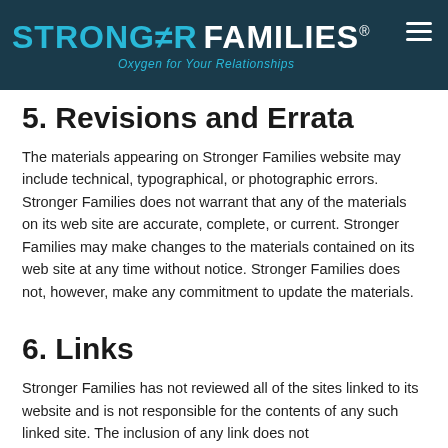STRONGER FAMILIES® — Oxygen for Your Relationships
5. Revisions and Errata
The materials appearing on Stronger Families website may include technical, typographical, or photographic errors. Stronger Families does not warrant that any of the materials on its web site are accurate, complete, or current. Stronger Families may make changes to the materials contained on its web site at any time without notice. Stronger Families does not, however, make any commitment to update the materials.
6. Links
Stronger Families has not reviewed all of the sites linked to its website and is not responsible for the contents of any such linked site. The inclusion of any link does not